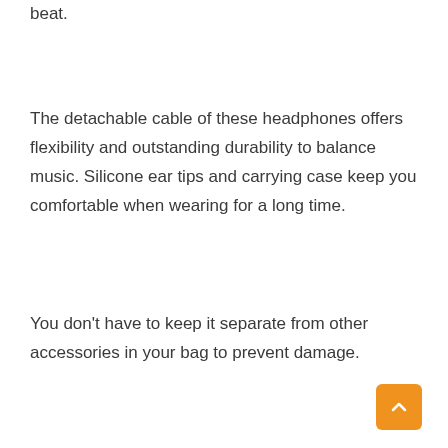beat.
The detachable cable of these headphones offers flexibility and outstanding durability to balance music. Silicone ear tips and carrying case keep you comfortable when wearing for a long time.
You don’t have to keep it separate from other accessories in your bag to prevent damage.